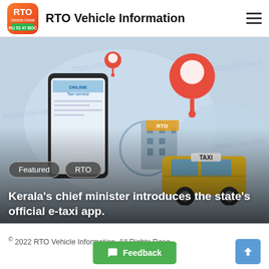RTO Vehicle Information
[Figure (illustration): Hero banner illustration showing an online taxi service app on a smartphone, two location pin markers (red), a yellow taxi cab with TAXI sign, an RTO building in the background, light blue blob shapes, and repeated watermark text 'https://rto.care'. Tags 'Featured' and 'RTO' shown as pill badges. Overlay gradient darkens the lower portion.]
Kerala's chief minister introduces the state's official e-taxi app.
© 2022 RTO Vehicle Information. All Rights Reserved.